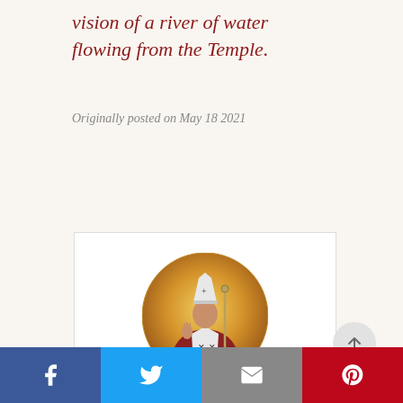vision of a river of water flowing from the Temple.
Originally posted on May 18 2021
[Figure (illustration): Circular icon painting of a saint in bishop's vestments with a mitre and staff, raising one hand in blessing, against a golden background.]
St. Ubi... of Dubi...